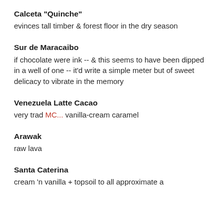Calceta "Quinche"
evinces tall timber & forest floor in the dry season
Sur de Maracaibo
if chocolate were ink -- & this seems to have been dipped in a well of one -- it'd write a simple meter but of sweet delicacy to vibrate in the memory
Venezuela Latte Cacao
very trad MC... vanilla-cream caramel
Arawak
raw lava
Santa Caterina
cream 'n vanilla + topsoil to all approximate a